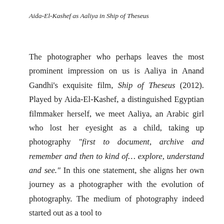Aida-El-Kashef as Aaliya in Ship of Theseus
The photographer who perhaps leaves the most prominent impression on us is Aaliya in Anand Gandhi's exquisite film, Ship of Theseus (2012). Played by Aida-El-Kashef, a distinguished Egyptian filmmaker herself, we meet Aaliya, an Arabic girl who lost her eyesight as a child, taking up photography “first to document, archive and remember and then to kind of… explore, understand and see.” In this one statement, she aligns her own journey as a photographer with the evolution of photography. The medium of photography indeed started out as a tool to